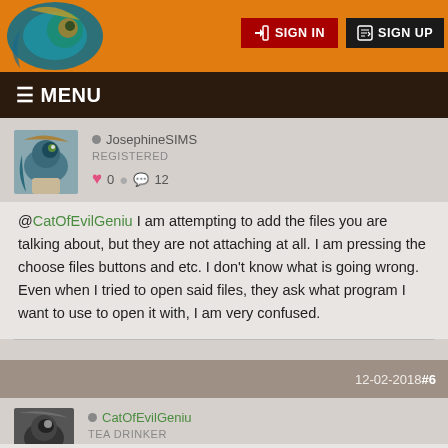SIGN IN   SIGN UP
≡ MENU
● JosephineSIMS
REGISTERED
♥ 0  💬 12
@CatOfEvilGeniu I am attempting to add the files you are talking about, but they are not attaching at all. I am pressing the choose files buttons and etc. I don't know what is going wrong. Even when I tried to open said files, they ask what program I want to use to open it with, I am very confused.
12-02-2018 #6
● CatOfEvilGeniu
TEA DRINKER
♥ 41  💬 130
@JosephineSIMS - Did you make sure to press the Full Editor button